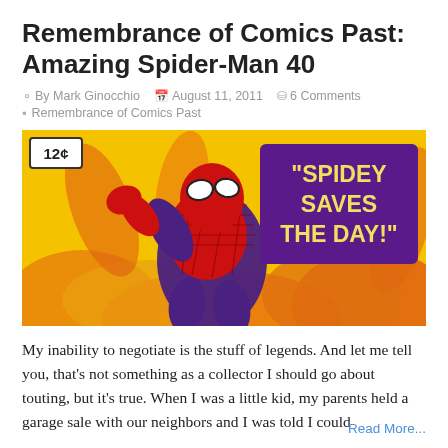Remembrance of Comics Past: Amazing Spider-Man 40
By Mark Ginocchio   August 11, 2011   6 Comments   Remembrance of Comics Past
[Figure (illustration): Comic book cover image of Amazing Spider-Man issue 40, showing Spider-Man in action pose with yellow/orange background and text reading 'SPIDEY SAVES THE DAY!' in purple box, price tag showing 12 cents]
My inability to negotiate is the stuff of legends. And let me tell you, that's not something as a collector I should go about touting, but it's true. When I was a little kid, my parents held a garage sale with our neighbors and I was told I could
Read More...